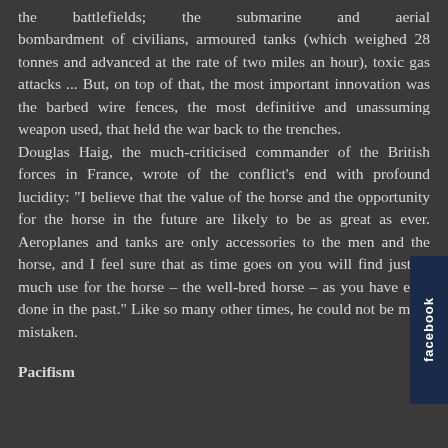the battlefields; the submarine and aerial bombardment of civilians, armoured tanks (which weighed 28 tonnes and advanced at the rate of two miles an hour), toxic gas attacks ... But, on top of that, the most important innovation was the barbed wire fences, the most definitive and unassuming weapon used, that held the war back to the trenches. Douglas Haig, the much-criticised commander of the British forces in France, wrote of the conflict's end with profound lucidity: "I believe that the value of the horse and the opportunity for the horse in the future are likely to be as great as ever. Aeroplanes and tanks are only accessories to the men and the horse, and I feel sure that as time goes on you will find just as much use for the horse – the well-bred horse – as you have ever done in the past." Like so many other times, he could not be more mistaken.
Pacifism